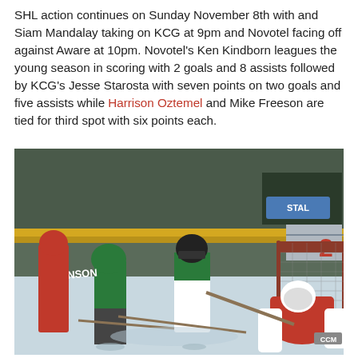SHL action continues on Sunday November 8th with and Siam Mandalay taking on KCG at 9pm and Novotel facing off against Aware at 10pm. Novotel's Ken Kindborn leagues the young season in scoring with 2 goals and 8 assists followed by KCG's Jesse Starosta with seven points on two goals and five assists while Harrison Oztemel and Mike Freeson are tied for third spot with six points each.
[Figure (photo): Ice hockey game photo showing players in green/white uniforms competing against players in red uniforms near the goal net, with a goalie in red making a save.]